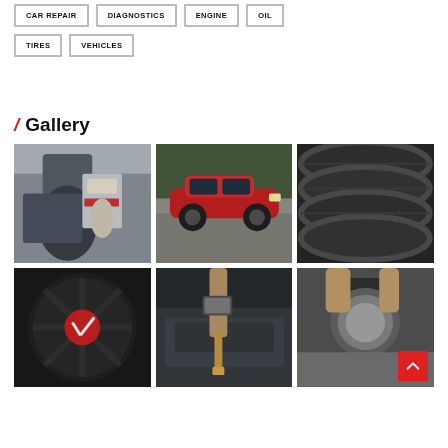CAR REPAIR
DIAGNOSTICS
ENGINE
OIL
TIRES
VEHICLES
/ Gallery
[Figure (photo): Mechanic with gloves polishing or cleaning a car surface]
[Figure (photo): Red Audi sports car driving on a road surrounded by trees]
[Figure (photo): Close-up of stacked black car tires showing tread pattern]
[Figure (photo): Close-up of a car wheel hub with red center cap]
[Figure (photo): Hand using a dipstick to check engine oil]
[Figure (photo): Polishing tool being used on a car headlight or engine component]